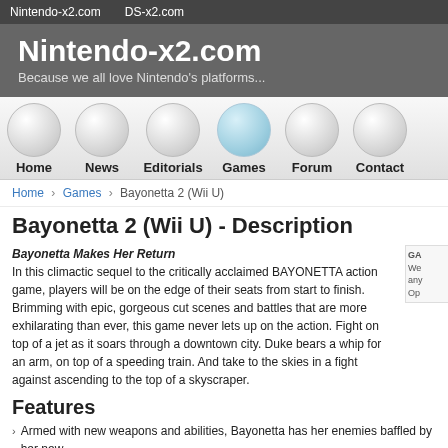Nintendo-x2.com   DS-x2.com
Nintendo-x2.com
Because we all love Nintendo's platforms...
[Figure (other): Navigation menu with circular button icons for: Home, News, Editorials, Games (active/highlighted), Forum, Contact]
Home > Games > Bayonetta 2 (Wii U)
Bayonetta 2 (Wii U) - Description
Bayonetta Makes Her Return
In this climactic sequel to the critically acclaimed BAYONETTA action game, players will be on the edge of their seats from start to finish. Brimming with epic, gorgeous cut scenes and battles that are more exhilarating than ever, this game never lets up on the action. Fight on top of a jet as it soars through a downtown city. Duke bears a whip for an arm, on top of a speeding train. And take to the skies in a fight against ascending to the top of a skyscraper.
Features
Armed with new weapons and abilities, Bayonetta has her enemies baffled by her new